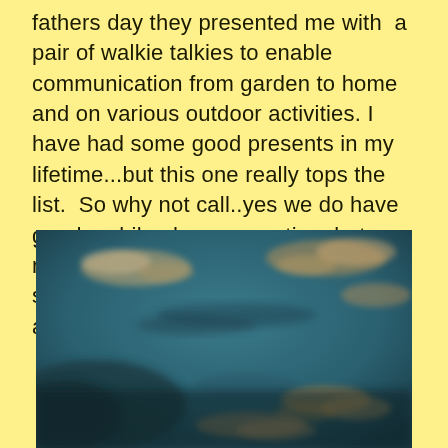fathers day they presented me with  a pair of walkie talkies to enable communication from garden to home and on various outdoor activities. I have had some good presents in my lifetime...but this one really tops the list.  So why not call..yes we do have good mobile phone reception, but nobody would ever think to phone someone maybe just 100 metres away would they?
[Figure (photo): A photograph of a cloudy sky with a teal/dark teal blue background and scattered wispy clouds, some with warm pinkish-orange tones, suggesting dusk or dawn lighting.]